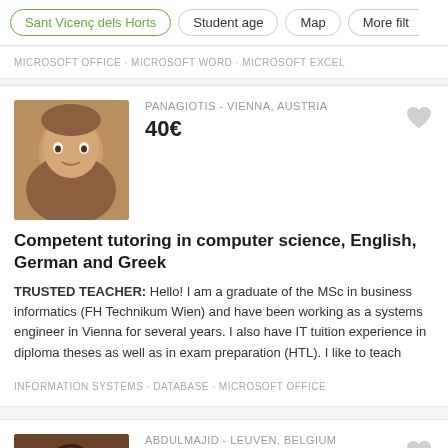Sant Vicenç dels Horts · Student age · Map · More filt
MICROSOFT OFFICE · MICROSOFT WORD · MICROSOFT EXCEL
PANAGIOTIS - VIENNA, AUSTRIA
40€
Competent tutoring in computer science, English, German and Greek
TRUSTED TEACHER: Hello! I am a graduate of the MSc in business informatics (FH Technikum Wien) and have been working as a systems engineer in Vienna for several years. I also have IT tuition experience in diploma theses as well as in exam preparation (HTL). I like to teach
INFORMATION SYSTEMS · DATABASE · MICROSOFT OFFICE
ABDULMAJID - LEUVEN, BELGIUM
13€
Microsoft Word and Powerpoint basics classes for